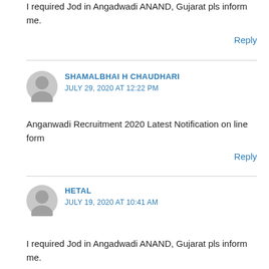I required Jod in Angadwadi ANAND, Gujarat pls inform me.
Reply
SHAMALBHAI H CHAUDHARI
JULY 29, 2020 AT 12:22 PM
Anganwadi Recruitment 2020 Latest Notification on line form
Reply
HETAL
JULY 19, 2020 AT 10:41 AM
I required Jod in Angadwadi ANAND, Gujarat pls inform me.